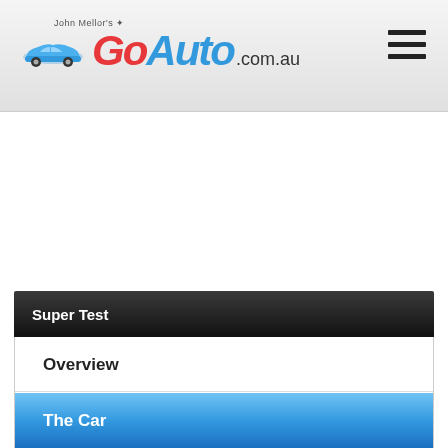GoAuto.com.au
Super Test
Overview
Our Opinion
The Car
How Much?